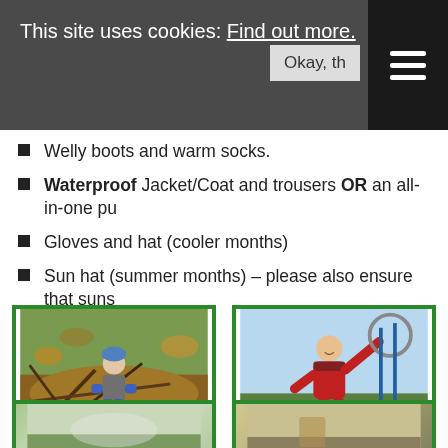This site uses cookies: Find out more. Okay, th [menu]
Welly boots and warm socks.
Waterproof Jacket/Coat and trousers OR an all-in-one pu
Gloves and hat (cooler months)
Sun hat (summer months) – please also ensure that suns
[Figure (photo): Child sitting in a pile of branches and autumn leaves outdoors, wearing blue hat and grey clothing with blue gloves]
[Figure (photo): Child in red waterproof all-in-one suit standing in a garden/allotment area holding a hoop, smiling at camera]
[Figure (photo): Partial view of child outdoors in misty/foggy conditions]
[Figure (photo): Partial view of child outdoors]